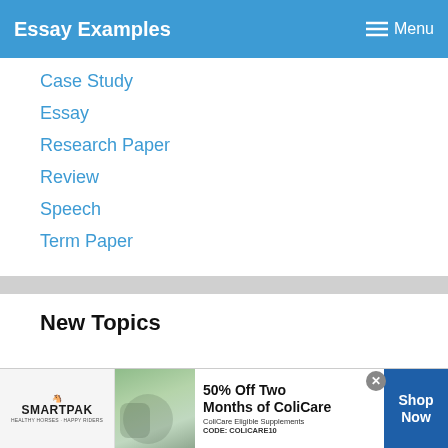Essay Examples  Menu
Case Study
Essay
Research Paper
Review
Speech
Term Paper
New Topics
[Figure (other): SmartPak advertisement banner: 50% Off Two Months of ColiCare, ColiCare Eligible Supplements, CODE: COLICARE10, Shop Now button]